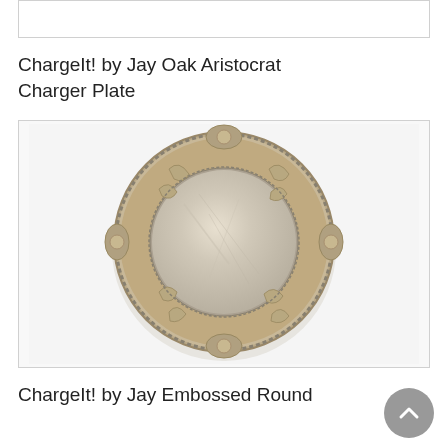[Figure (other): Top portion of a product image, partially visible at the top of the page]
ChargeIt! by Jay Oak Aristocrat Charger Plate
[Figure (photo): Ornate silver charger plate with embossed floral and scroll designs on the wide decorative rim, and a light marbled/brushed silver center]
ChargeIt! by Jay Embossed Round